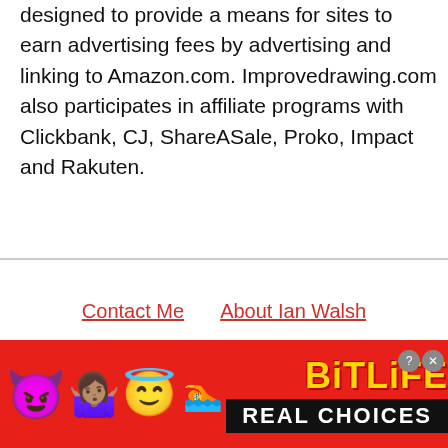designed to provide a means for sites to earn advertising fees by advertising and linking to Amazon.com. Improvedrawing.com also participates in affiliate programs with Clickbank, CJ, ShareASale, Proko, Impact and Rakuten.
Contact Me   About Ian Walsh
Privacy Policy of improvedrawing.com
Terms and Conditions
Improvedrawing.com Limited 2022
[Figure (screenshot): BitLife advertisement banner with emojis (devil, person shrugging, angel, sperm), BitLife logo in yellow on red background, and 'REAL CHOICES' text on black background]